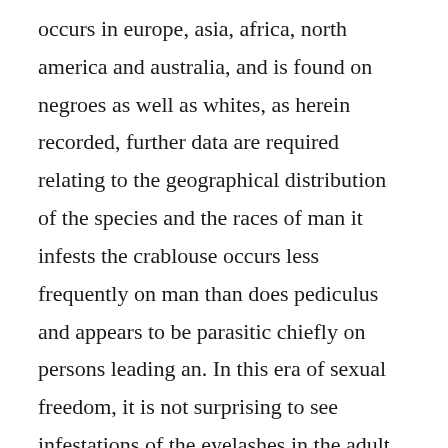occurs in europe, asia, africa, north america and australia, and is found on negroes as well as whites, as herein recorded, further data are required relating to the geographical distribution of the species and the races of man it infests the crablouse occurs less frequently on man than does pediculus and appears to be parasitic chiefly on persons leading an. In this era of sexual freedom, it is not surprising to see infestations of the eyelashes in the adult. Phthirus pubis as a cause of axillary pruritus jessica kim so, casey a. Infestation is usually through sexual